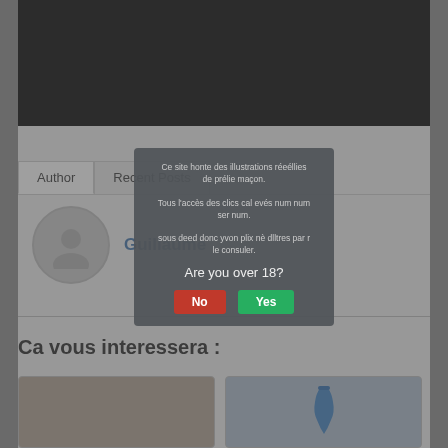[Figure (photo): Black video player area at top of page]
Author | Recent Posts
Guillaume
[Figure (photo): Author avatar circle placeholder]
Ca vous interessera :
[Figure (photo): Thumbnail image left - dark tones]
[Figure (photo): Thumbnail image right - blue vase object]
[Figure (screenshot): Modal age verification dialog overlay. French text warning about adult content. Buttons: No (red), Yes (green). Question: Are you over 18?]